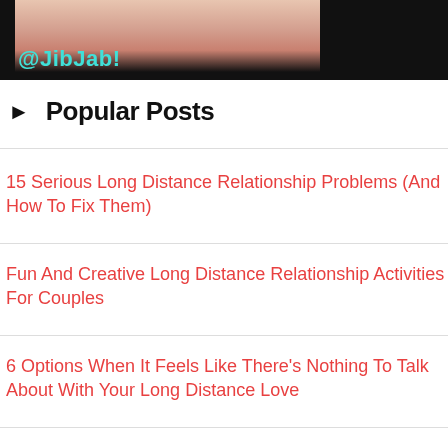[Figure (photo): Partial photo of a person with dark hair against black background, with @JibJab! text overlay in teal]
Popular Posts
15 Serious Long Distance Relationship Problems (And How To Fix Them)
Fun And Creative Long Distance Relationship Activities For Couples
6 Options When It Feels Like There's Nothing To Talk About With Your Long Distance Love